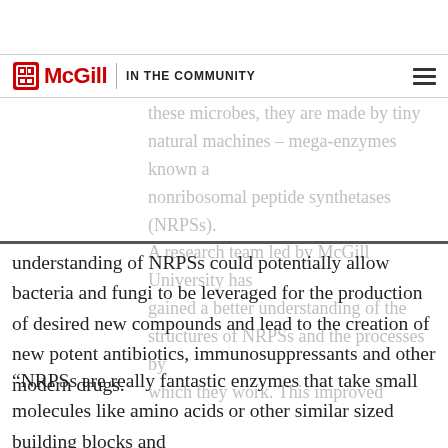McGill | IN THE COMMUNITY
microbes like bacteria and fungi. Within these microbes, they are made by tiny natural machines – mega-enzymes known as nonribosomal peptide synthetases (NRPSs). A research team led by McGill University has gained a better understanding of the structures of NRPSs and the processes by which they work. This improved understanding of NRPSs could potentially allow bacteria and fungi to be leveraged for the production of desired new compounds and lead to the creation of new potent antibiotics, immunosuppressants and other modern drugs.
“NRPSs are really fantastic enzymes that take small molecules like amino acids or other similar sized building blocks and assemble them into natural, biologically active molecules,”